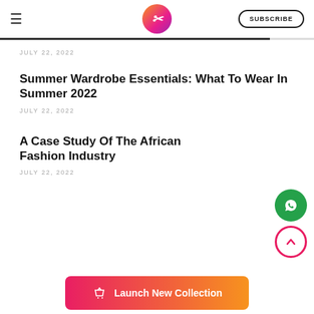≡ | Logo | SUBSCRIBE
JULY 22, 2022
Summer Wardrobe Essentials: What To Wear In Summer 2022
JULY 22, 2022
A Case Study Of The African Fashion Industry
JULY 22, 2022
Launch New Collection